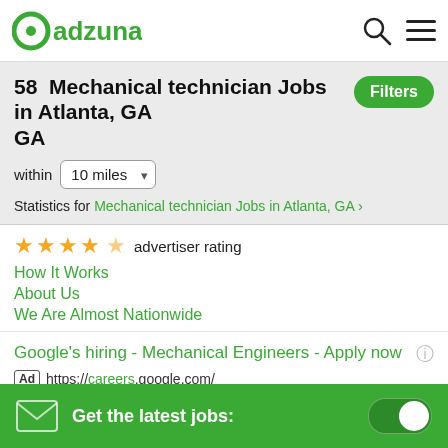adzuna
58 Mechanical technician Jobs in Atlanta, GA
within 10 miles
Statistics for Mechanical technician Jobs in Atlanta, GA
★★★★★ advertiser rating
How It Works
About Us
We Are Almost Nationwide
Google's hiring - Mechanical Engineers - Apply now
Ad https://careers.google.com/
Join our team and build products that help improve people's lives. Offices across the globe. Build what's next. Learn about open roles.
Get the latest jobs: